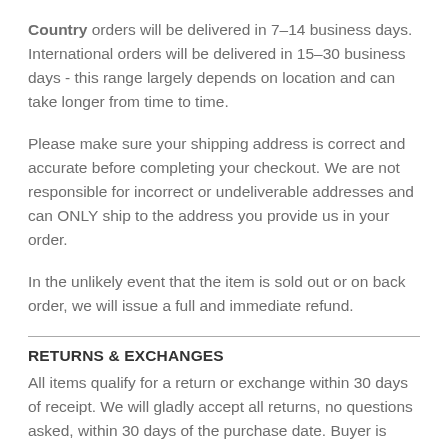Country orders will be delivered in 7–14 business days. International orders will be delivered in 15–30 business days - this range largely depends on location and can take longer from time to time.
Please make sure your shipping address is correct and accurate before completing your checkout. We are not responsible for incorrect or undeliverable addresses and can ONLY ship to the address you provide us in your order.
In the unlikely event that the item is sold out or on back order, we will issue a full and immediate refund.
RETURNS & EXCHANGES
All items qualify for a return or exchange within 30 days of receipt. We will gladly accept all returns, no questions asked, within 30 days of the purchase date. Buyer is responsible for return shipping on any item